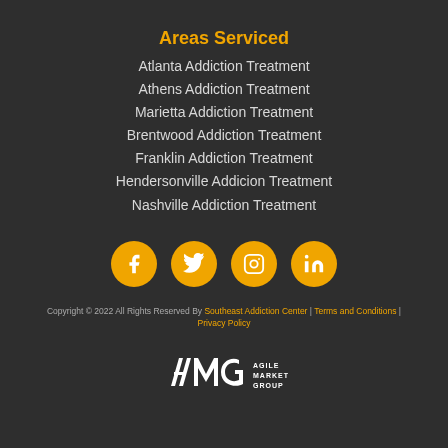Areas Serviced
Atlanta Addiction Treatment
Athens Addiction Treatment
Marietta Addiction Treatment
Brentwood Addiction Treatment
Franklin Addiction Treatment
Hendersonville Addicion Treatment
Nashville Addiction Treatment
[Figure (infographic): Row of four golden circular social media icons: Facebook, Twitter, Instagram, LinkedIn]
Copyright © 2022 All Rights Reserved By Southeast Addiction Center | Terms and Conditions | Privacy Policy
[Figure (logo): Agile Marketing Group logo with stylized AMG lettermark and text AGILE MARKETING GROUP]